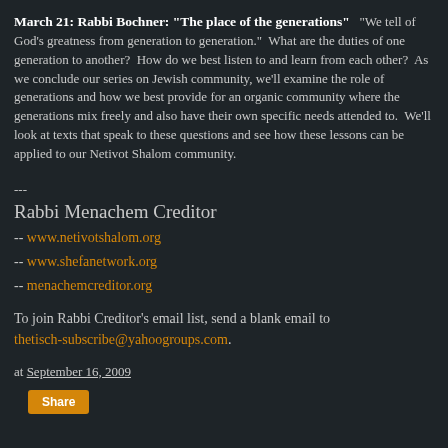March 21: Rabbi Bochner: "The place of the generations"  "We tell of God's greatness from generation to generation."  What are the duties of one generation to another?  How do we best listen to and learn from each other?  As we conclude our series on Jewish community, we'll examine the role of generations and how we best provide for an organic community where the generations mix freely and also have their own specific needs attended to.  We'll look at texts that speak to these questions and see how these lessons can be applied to our Netivot Shalom community.
---
Rabbi Menachem Creditor
-- www.netivotshalom.org
-- www.shefanetwork.org
-- menachemcreditor.org
To join Rabbi Creditor's email list, send a blank email to thetisch-subscribe@yahoogroups.com.
at September 16, 2009